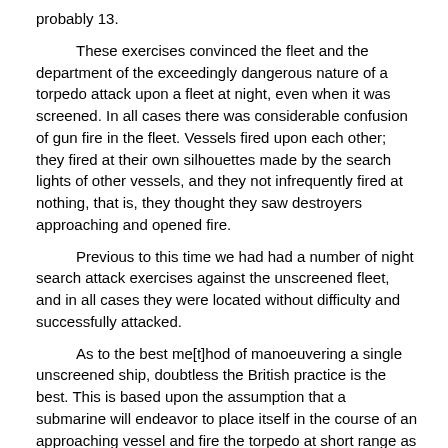probably 13.
These exercises convinced the fleet and the department of the exceedingly dangerous nature of a torpedo attack upon a fleet at night, even when it was screened. In all cases there was considerable confusion of gun fire in the fleet. Vessels fired upon each other; they fired at their own silhouettes made by the search lights of other vessels, and they not infrequently fired at nothing, that is, they thought they saw destroyers approaching and opened fire.
Previous to this time we had had a number of night search attack exercises against the unscreened fleet, and in all cases they were located without difficulty and successfully attacked.
As to the best me[t]hod of manoeuvering a single unscreened ship, doubtless the British practice is the best. This is based upon the assumption that a submarine will endeavor to place itself in the course of an approaching vessel and fire the torpedo at short range as she passes by. The submarine attack would manifestly be facilitated by a slow speed of the ship and a steady course. It therefore follows that if the ship steams at full speed and changes her course frequently, the chances are largely in favor of her avoiding